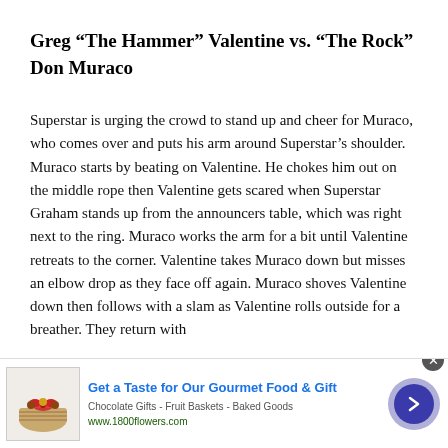Greg “The Hammer” Valentine vs. “The Rock” Don Muraco
Superstar is urging the crowd to stand up and cheer for Muraco, who comes over and puts his arm around Superstar’s shoulder. Muraco starts by beating on Valentine. He chokes him out on the middle rope then Valentine gets scared when Superstar Graham stands up from the announcers table, which was right next to the ring. Muraco works the arm for a bit until Valentine retreats to the corner. Valentine takes Muraco down but misses an elbow drop as they face off again. Muraco shoves Valentine down then follows with a slam as Valentine rolls outside for a breather. They return with
[Figure (other): Advertisement banner: Get a Taste for Our Gourmet Food & Gift. Chocolate Gifts - Fruit Baskets - Baked Goods. www.1800flowers.com. Shows a gift basket image and a blue circular arrow button.]